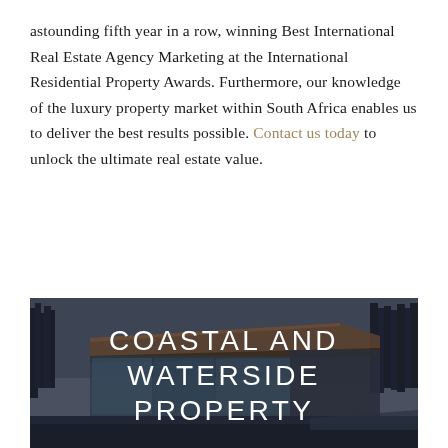astounding fifth year in a row, winning Best International Real Estate Agency Marketing at the International Residential Property Awards. Furthermore, our knowledge of the luxury property market within South Africa enables us to deliver the best results possible. Contact us today to unlock the ultimate real estate value.
[Figure (photo): A modern architectural home with large glass panels and a flat roof overhang, surrounded by bare winter trees in a dark, moody atmosphere. Overlaid with large white text reading COASTAL AND WATERSIDE PROPERTY.]